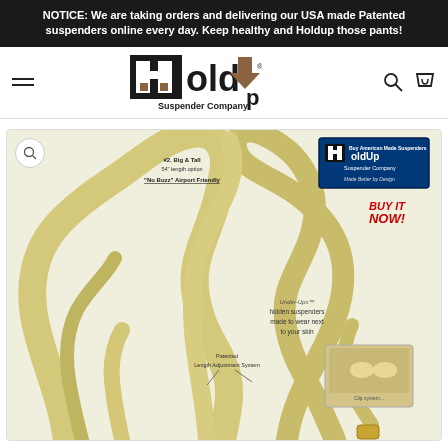NOTICE: We are taking orders and delivering our USA made Patented suspenders online every day. Keep healthy and Holdup those pants!
[Figure (logo): HoldUp Suspender Company logo with stylized H and upward arrow]
[Figure (photo): Product photo of Under-Ups hidden suspenders shown in cream/beige color, laid out to display the straps. Annotations point to features including 'Patented Length Adjustment System', 'No Buzz Airport Friendly', 'Big & Tall 54 inch length option', 'Under-Ups hidden suspenders made to wear next to your skin', and a small inset photo of the clip mechanism. HoldUp logo badge and 'BUY IT NOW!' text appear in upper right of product image.]